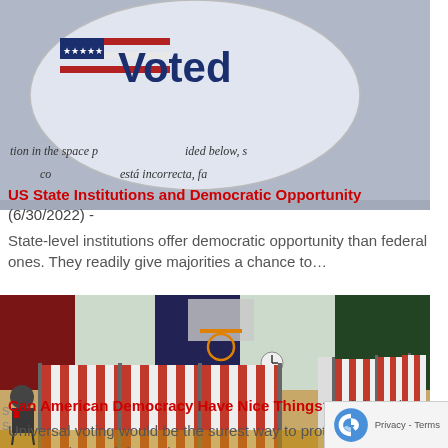[Figure (photo): Close-up of an 'I Voted' sticker with a small American flag, overlaid on a ballot form with Spanish text]
US State Institutions and Democratic Opportunity (6/30/2022) - State-level institutions offer democratic opportunity than federal ones. They readily give majorities a chance to…
[Figure (photo): Interior of a gymnasium converted into a polling station with red-and-white striped voting booths and a person seated at one]
Can American Democracy Have Nice Things? (6/7/2022) Universal voting would be the surest way to protect against voter suppression and the active…